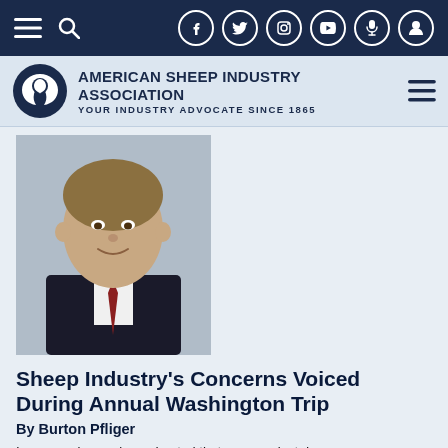American Sheep Industry Association — Your Industry Advocate Since 1865
[Figure (photo): Headshot photo of Burton Pfliger, a man in a dark suit with a tie, smiling, with a light background.]
Sheep Industry's Concerns Voiced During Annual Washington Trip
By Burton Pfliger
In my previous column, I noted that we were just days away from joining forces with 50-plus other dedicated volunteer leaders who descended on Washington, D.C. We did so in an effort to express the priorities and shape legislation beneficial to the American Sheep Industry.